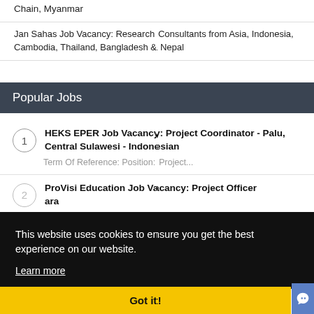Chain, Myanmar
Jan Sahas Job Vacancy: Research Consultants from Asia, Indonesia, Cambodia, Thailand, Bangladesh & Nepal
Popular Jobs
HEKS EPER Job Vacancy: Project Coordinator - Palu, Central Sulawesi - Indonesian
Term Of Reference: Position: Project...
ProVisi Education Job Vacancy: Project Officer ... ara
This website uses cookies to ensure you get the best experience on our website.
Learn more
Got it!